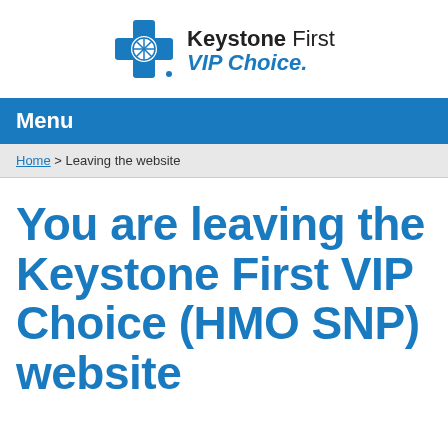[Figure (logo): Keystone First VIP Choice logo with blue cross/shield icon and text]
Menu
Home > Leaving the website
You are leaving the Keystone First VIP Choice (HMO SNP) website